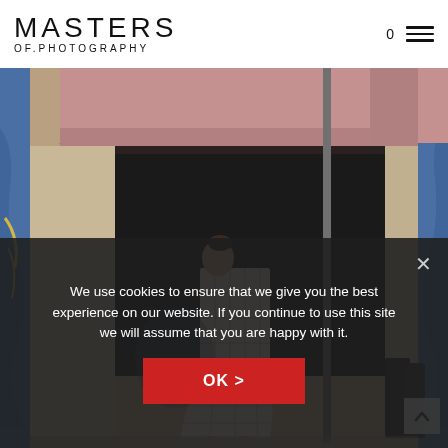[Figure (logo): Masters of Photography logo — large sans-serif MASTERS text above OF.PHOTOGRAPHY in smaller spaced lettering]
[Figure (photo): Photograph of a woman in a plaid/grid-pattern coat walking past a shop storefront with a pink/mauve awning, tan building exterior, and dark doorway; urban street scene with blue abstract texture on sides]
We use cookies to ensure that we give you the best experience on our website. If you continue to use this site we will assume that you are happy with it.
OK >